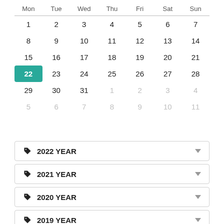| Mon | Tue | Wed | Thu | Fri | Sat | Sun |
| --- | --- | --- | --- | --- | --- | --- |
| 1 | 2 | 3 | 4 | 5 | 6 | 7 |
| 8 | 9 | 10 | 11 | 12 | 13 | 14 |
| 15 | 16 | 17 | 18 | 19 | 20 | 21 |
| 22 (selected) | 23 | 24 | 25 | 26 | 27 | 28 |
| 29 | 30 | 31 | 1 | 2 | 3 | 4 |
| 5 | 6 | 7 | 8 | 9 | 10 | 11 |
2022 YEAR
2021 YEAR
2020 YEAR
2019 YEAR